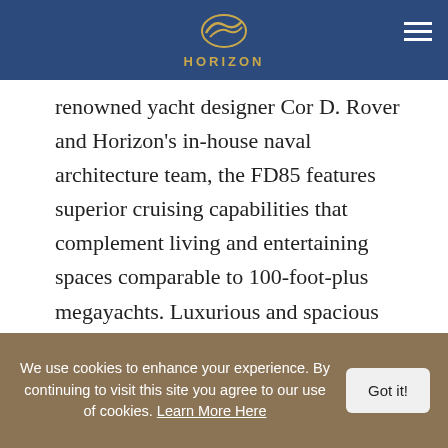[Figure (logo): Horizon Yachts logo: golden stylized yacht wave icon above the text HORIZON in gold letters, on a dark blue navigation bar]
Developed in collaboration between world-renowned yacht designer Cor D. Rover and Horizon's in-house naval architecture team, the FD85 features superior cruising capabilities that complement living and entertaining spaces comparable to 100-foot-plus megayachts. Luxurious and spacious accommodations include on-Deck Master stateroom and four guest rooms on board; and the luxury continues outside with a voluminous aft deck, open flybridge with Jacuzzi, and bow sunpads. Below the water, the FD85 is just as impressive with her High Performance Piercing Bow (HPPB) which provides both
We use cookies to enhance your experience. By continuing to visit this site you agree to our use of cookies. Learn More Here